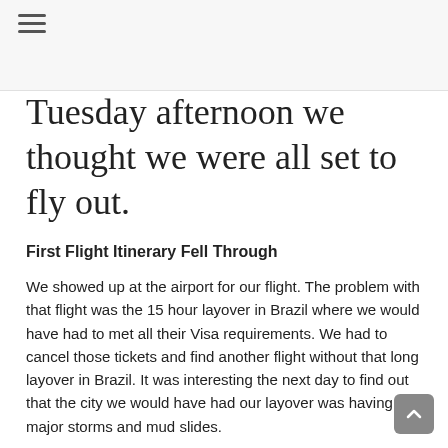Tuesday afternoon we thought we were all set to fly out.
First Flight Itinerary Fell Through
We showed up at the airport for our flight. The problem with that flight was the 15 hour layover in Brazil where we would have had to met all their Visa requirements. We had to cancel those tickets and find another flight without that long layover in Brazil. It was interesting the next day to find out that the city we would have had our layover was having major storms and mud slides.
Divine Appointments
A couple days later Scott and I were at Walmart picking up a few things we needed for our flight. The cashier